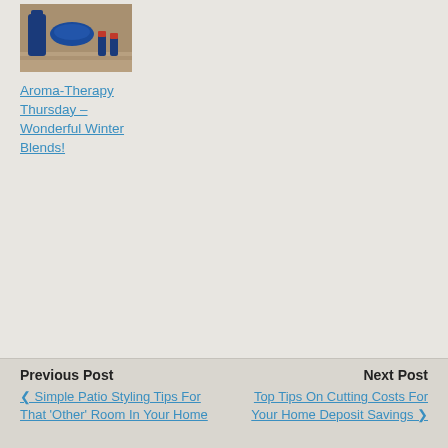[Figure (photo): Blue glass aromatherapy bottles and oil burner on a light background]
Aroma-Therapy Thursday – Wonderful Winter Blends!
Previous Post   Simple Patio Styling Tips For That 'Other' Room In Your Home   Next Post   Top Tips On Cutting Costs For Your Home Deposit Savings